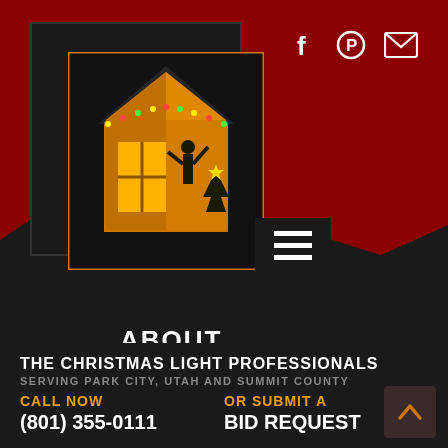[Figure (logo): Christmas light professionals logo: dark box with orange house silhouette, window, and figures decorating for Christmas]
[Figure (infographic): Hamburger menu button (three white horizontal lines on black background)]
[Figure (infographic): Social media icons: Facebook (f), Pinterest (circle with P), Email (envelope) in white on red background]
ABOUT
FAQ
THE CHRISTMAS LIGHT PROFESSIONALS
SERVING PARK CITY, UTAH AND SUMMIT COUNTY
CALL NOW
(801) 355-0111
OR SUBMIT A
BID REQUEST